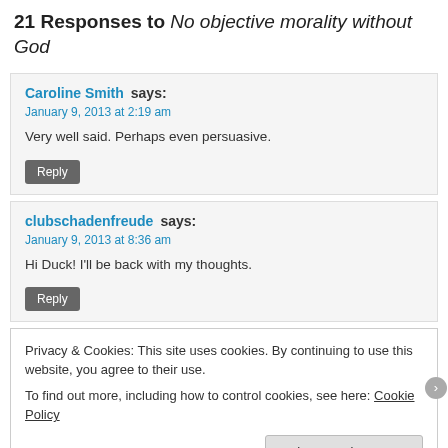21 Responses to No objective morality without God
Caroline Smith says:
January 9, 2013 at 2:19 am

Very well said. Perhaps even persuasive.

Reply
clubschadenfreude says:
January 9, 2013 at 8:36 am

Hi Duck! I'll be back with my thoughts.

Reply
Privacy & Cookies: This site uses cookies. By continuing to use this website, you agree to their use.
To find out more, including how to control cookies, see here: Cookie Policy

Close and accept